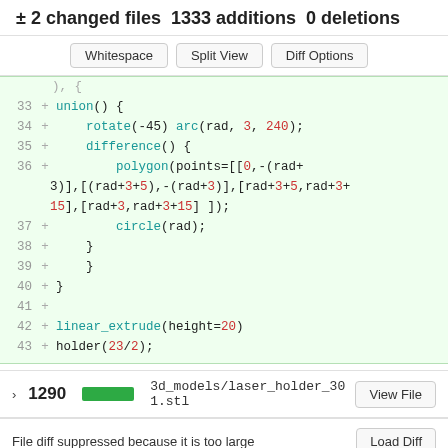± 2 changed files  1333 additions  0 deletions
Whitespace  Split View  Diff Options
[Figure (screenshot): Code diff showing added lines 33-43 of an OpenSCAD file with green background, line numbers, plus signs, and syntax-highlighted code]
v 1290  [green bar]  3d_models/laser_holder_301.stl  View File
File diff suppressed because it is too large   Load Diff